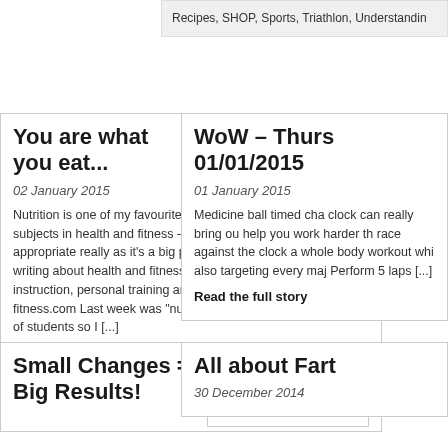Recipes, SHOP, Sports, Triathlon, Understanding
You are what you eat...
02 January 2015
[Figure (photo): Image placeholder for blog post]
Nutrition is one of my favourite subjects in health and fitness – appropriate really as it's a big part of my job. In addition to writing about health and fitness, I also teach courses in gym instruction, personal training and optimum nutrition www.solar-fitness.com Last week was "nutrition week" for my current batch of students so I [...]
Read the full story
Posted in Fat burning, Fitness, NutritionComments Off
WoW – Thursday 01/01/2015
01 January 2015
Medicine ball timed challenge – the clock can really bring out the best in you, help you work harder than you think as you race against the clock and this is a great whole body workout whilst also targeting every major [...]
Read the full story
Small Changes = Big Results!
[Figure (photo): Image placeholder for blog post]
All about Fart...
30 December 2014